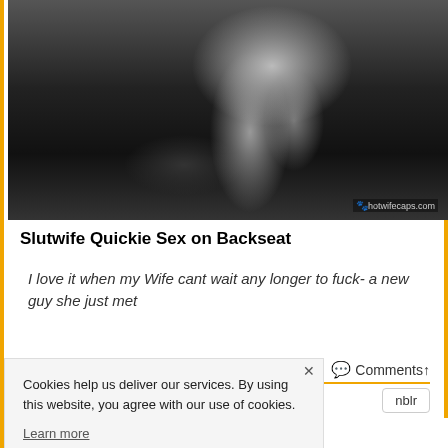[Figure (photo): Black and white photo showing legs and high-heeled shoes in what appears to be a car backseat setting. Watermark reads 'hotwifecaps.com' in bottom right corner.]
Slutwife Quickie Sex on Backseat
I love it when my Wife cant wait any longer to fuck- a new guy she just met
Comments↑
Cookies help us deliver our services. By using this website, you agree with our use of cookies.
Learn more
nblr
Not only did my